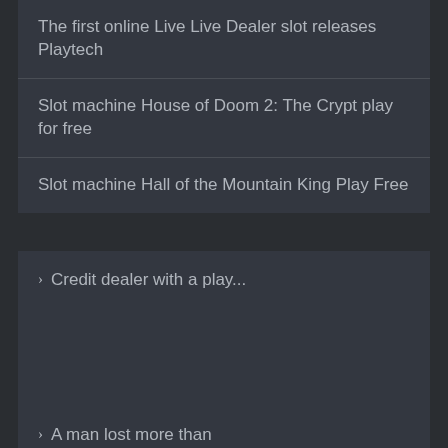The first online Live Live Dealer slot releases Playtech
Slot machine House of Doom 2: The Crypt play for free
Slot machine Hall of the Mountain King Play Free
› Credit dealer with a play...
› A man lost more than